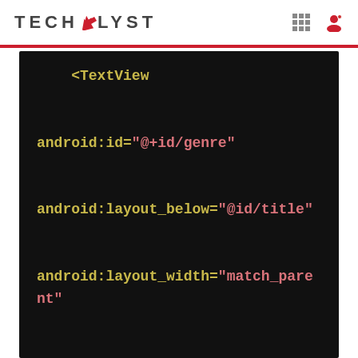TECHALYST
[Figure (screenshot): Dark code editor showing Android XML layout code with TextView tag and attributes: android:id, android:layout_below, android:layout_width]